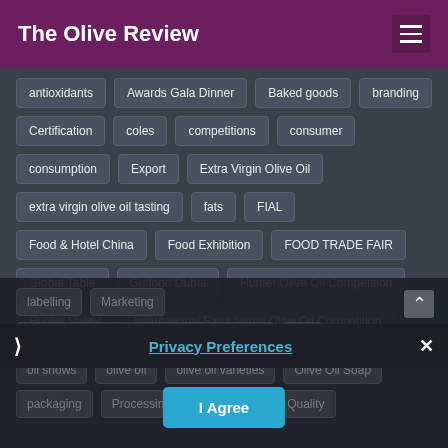The Olive Review
antioxidants
Awards Gala Dinner
Baked goods
branding
Certification
coles
competitions
consumer
consumption
Export
Extra Virgin Olive Oil
extra virgin olive oil tasting
fats
FIAL
Food & Hotel China
Food Exhibition
FOOD TRADE FAIR
Global Table
Gulfood Dubai
Hunter Olive Oil Competition
Hunter Valley
International Extra Virgin Olive Oil Competition
labelling
Marketing
New York International Olive Oil Competition
oils
oil shows
olive oil
olive oil varieties
Olive Oil Soap
packaging
Processing
production
Quality
Privacy Preferences
I Agree